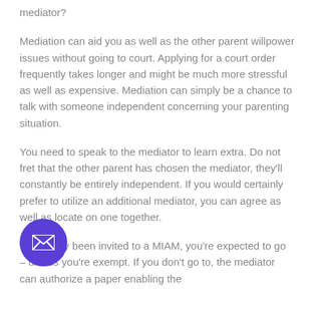mediator?
Mediation can aid you as well as the other parent willpower issues without going to court. Applying for a court order frequently takes longer and might be much more stressful as well as expensive. Mediation can simply be a chance to talk with someone independent concerning your parenting situation.
You need to speak to the mediator to learn extra. Do not fret that the other parent has chosen the mediator, they'll constantly be entirely independent. If you would certainly prefer to utilize an additional mediator, you can agree as well as locate on one together.
ve actually been invited to a MIAM, you're expected to go – unless you're exempt. If you don't go to, the mediator can authorize a paper enabling the